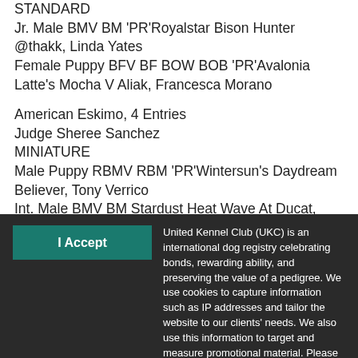STANDARD
Jr. Male BMV BM 'PR'Royalstar Bison Hunter @thakk, Linda Yates
Female Puppy BFV BF BOW BOB 'PR'Avalonia Latte's Mocha V Aliak, Francesca Morano
American Eskimo, 4 Entries
Judge Sheree Sanchez
MINIATURE
Male Puppy RBMV RBM 'PR'Wintersun's Daydream Believer, Tony Verrico
Int. Male BMV BM Stardust Heat Wave At Ducat, Helen
I Accept
United Kennel Club (UKC) is an international dog registry celebrating bonds, rewarding ability, and preserving the value of a pedigree. We use cookies to capture information such as IP addresses and tailor the website to our clients' needs. We also use this information to target and measure promotional material. Please see our Privacy Policy for more information.